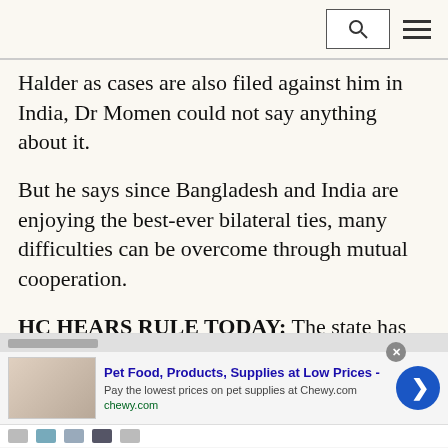[search] [menu]
Halder as cases are also filed against him in India, Dr Momen could not say anything about it.
But he says since Bangladesh and India are enjoying the best-ever bilateral ties, many difficulties can be overcome through mutual cooperation.
HC HEARS RULE TODAY: The state has initiated to hear a ruling, issued by the High Court one-and-half years ago, over government steps to locate Mr Halder and arrest him.
The rul...
[Figure (screenshot): Advertisement banner: Pet Food, Products, Supplies at Low Prices - chewy.com]